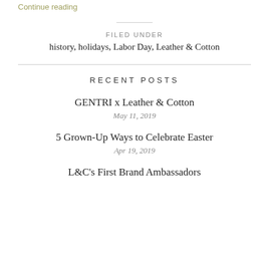Continue reading
FILED UNDER
history, holidays, Labor Day, Leather & Cotton
RECENT POSTS
GENTRI x Leather & Cotton
May 11, 2019
5 Grown-Up Ways to Celebrate Easter
Apr 19, 2019
L&C's First Brand Ambassadors